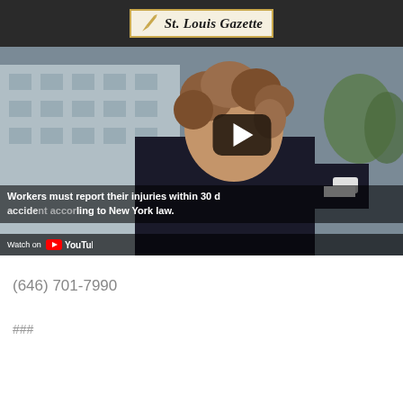St. Louis Gazette
[Figure (screenshot): YouTube video thumbnail showing a person with curly hair in front of a building. A play button is displayed in the center. A subtitle reads 'Workers must report their injuries within 30 days of the accident according to New York law.' A 'Watch on YouTube' bar is shown at the bottom.]
(646) 701-7990
###